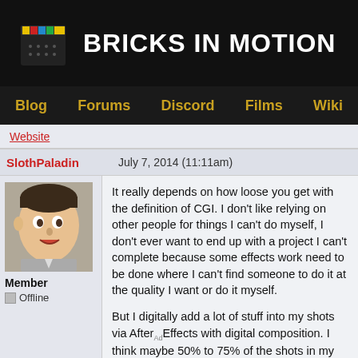BRICKS IN MOTION
Blog  Forums  Discord  Films  Wiki
Website
SlothPaladin    July 7, 2014 (11:11am)
[Figure (photo): Avatar of user SlothPaladin showing a LEGO-style face character]
Member
Offline
It really depends on how loose you get with the definition of CGI. I don't like relying on other people for things I can't do myself, I don't ever want to end up with a project I can't complete because some effects work need to be done where I can't find someone to do it at the quality I want or do it myself.

But I digitally add a lot of stuff into my shots via After Effects with digital composition. I think maybe 50% to 75% of the shots in my current project feature digital effects. On of the very early shots I did was a cliff side beach, this is how it looked while I shot it, and after it was done I put blue base plates every ware they were not seen in